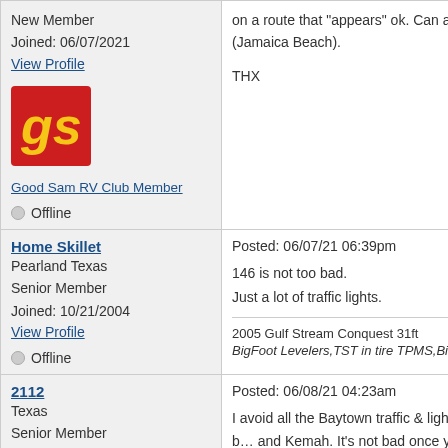| User Info | Post Content |
| --- | --- |
| New Member
Joined: 06/07/2021
View Profile
[Good Sam RV Club Member logo]
Good Sam RV Club Member
Offline | on a route that "appears" ok. Can any...
(Jamaica Beach).

THX |
| Home Skillet
Pearland Texas
Senior Member
Joined: 10/21/2004
View Profile
Offline | Posted: 06/07/21 06:39pm

146 is not too bad.
Just a lot of traffic lights.

2005 Gulf Stream Conquest 31ft
BigFoot Levelers,TST in tire TPMS,Bi... |
| 2112
Texas
Senior Member
Joined: 07/16/2011
View Profile | Posted: 06/08/21 04:23am

I avoid all the Baytown traffic & lights b... and Kemah. It's not bad once you get... Kemah Board Walk just past the Kema... and parking down there are not big rig...

2011 Ford F-150 EcoBoost SuperCab... |